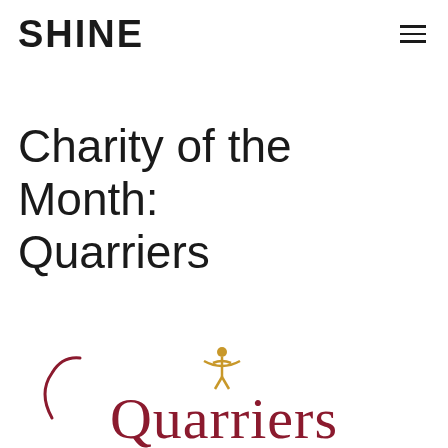SHINE
Charity of the Month: Quarriers
[Figure (logo): Quarriers charity logo — stylized text 'Quarriers' in dark red/maroon with a golden figure icon above the letter 'i']